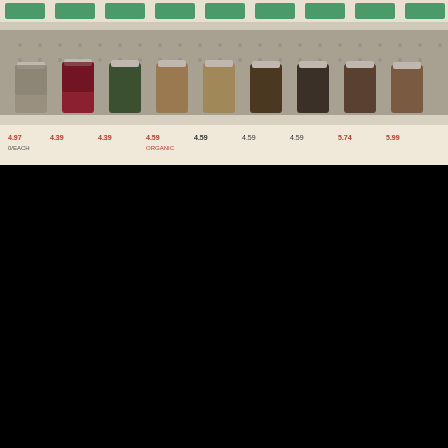[Figure (photo): Grocery store shelf with rows of spice jars in glass containers with silver lids, showing price tags below on a metal pegboard shelf]
[Figure (photo): Close-up of Annie's brand salad dressing bottles on a store shelf, with red and white labels, blurred depth of field. Heart and share UI buttons visible on the right side.]
[Figure (photo): Advertisement banner with purple background and diagonal line stripes, orange bold text reading 'This isn't forever. It's just right now.' with a close X button and a share/cross icon panel on the right]